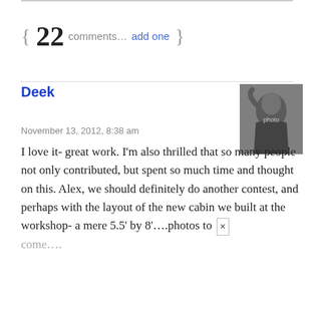{ 22 comments… add one }
Deek
November 13, 2012, 8:38 am
[Figure (photo): Profile photo of a person with hand raised above their head, black and white image]
I love it- great work. I'm also thrilled that so many people not only contributed, but spent so much time and thought on this. Alex, we should definitely do another contest, and perhaps with the layout of the new cabin we built at the workshop- a mere 5.5' by 8'….photos to
come….